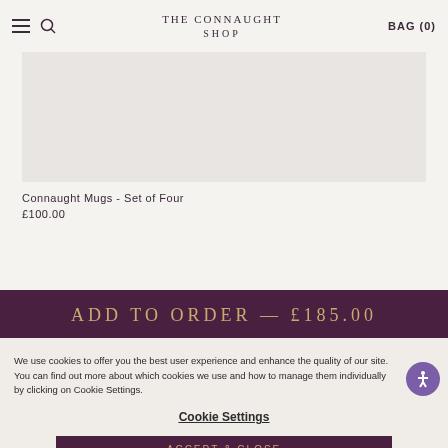The Connaught Shop | BAG (0)
[Figure (photo): Product image placeholder area showing Connaught Mugs - Set of Four on a light grey background]
Connaught Mugs - Set of Four
£100.00
ADD TO ORDER — £185.00
We use cookies to offer you the best user experience and enhance the quality of our site. You can find out more about which cookies we use and how to manage them individually by clicking on Cookie Settings.
Cookie Settings
ACCEPT & CLOSE